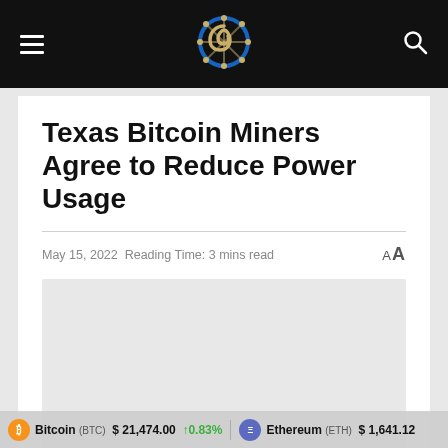Navigation bar with hamburger menu, logo, and search icon
Texas Bitcoin Miners Agree to Reduce Power Usage
May 15, 2022  Reading Time: 3 mins read
[Figure (photo): Article featured image placeholder (light gray)]
Bitcoin (BTC) $21,474.00 ↑0.83%   Ethereum (ETH) $1,641.12